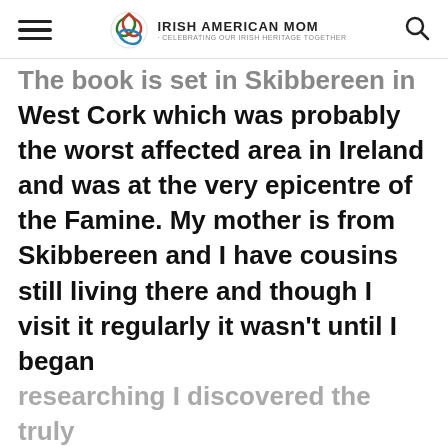Irish American Mom - Celebrating Our Irish Heritage Together
The book is set in Skibbereen in West Cork which was probably the worst affected area in Ireland and was at the very epicentre of the Famine. My mother is from Skibbereen and I have cousins still living there and though I visit it regularly it wasn't until I began researching I discovered the truly catastrophic situation that existed